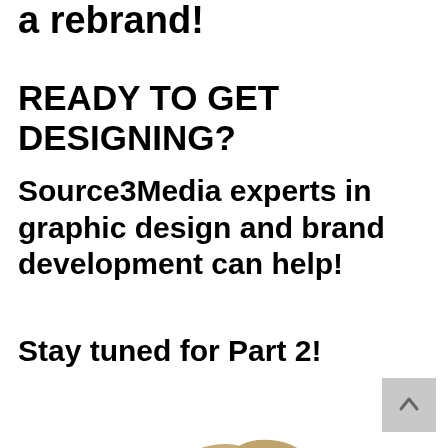a rebrand!
READY TO GET DESIGNING?
Source3Media experts in graphic design and brand development can help!
Stay tuned for Part 2!
[Figure (photo): A navy blue gift box wrapped with a natural burlap/jute ribbon bow, on a white background.]